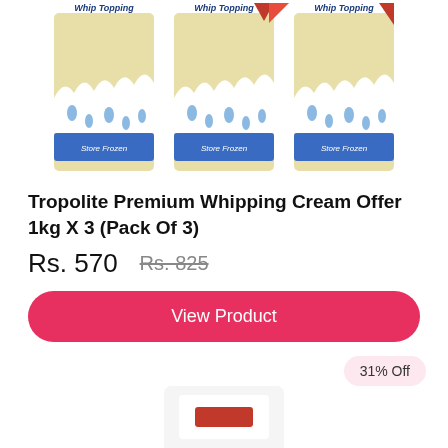[Figure (photo): Three boxes of Tropolite Whip Topping (Store Frozen) product shown side by side]
Tropolite Premium Whipping Cream Offer 1kg X 3 (Pack Of 3)
Rs. 570   Rs. 825
View Product
31% Off
[Figure (photo): Partially visible product image at the bottom of the page]